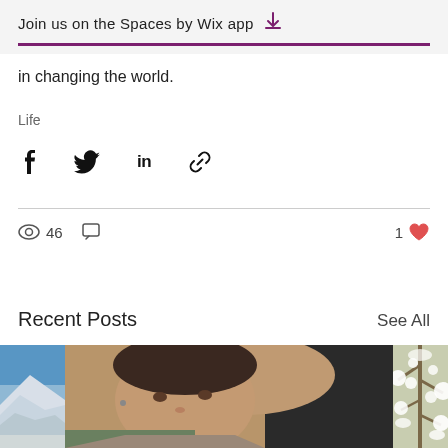Join us on the Spaces by Wix app
in changing the world.
Life
[Figure (other): Social share icons: Facebook, Twitter, LinkedIn, link]
[Figure (other): Stats row: eye icon with 46 views, comment icon, 1 like (heart icon)]
Recent Posts
See All
[Figure (photo): Three thumbnail photos side by side: snowy mountain on left, selfie of woman in center, snowy tree branches on right]